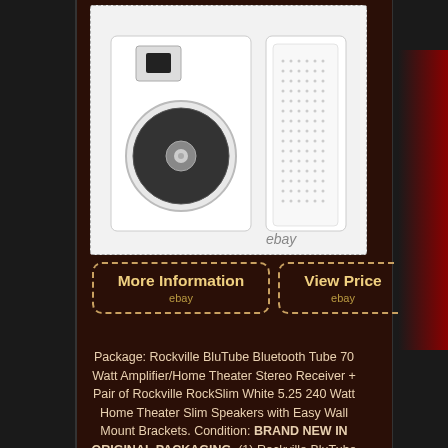[Figure (photo): White in-wall speaker shown from front (woofer visible) and back (grille panel), displayed against light background with 'ebay' watermark]
More Information
ebay
View Price
ebay
Package: Rockville BluTube Bluetooth Tube 70 Watt Amplifier/Home Theater Stereo Receiver + Pair of Rockville RockSlim White 5.25 240 Watt Home Theater Slim Speakers with Easy Wall Mount Brackets. Condition: BRAND NEW IN ORIGINAL PACKAGING. (1) Rockville BluTube 70w Tube Amplifier/Home Theater